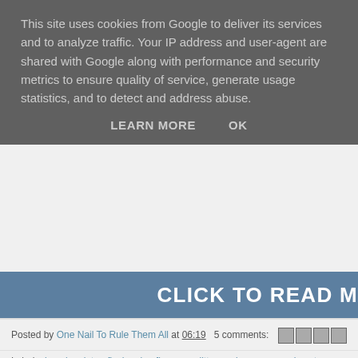This site uses cookies from Google to deliver its services and to analyze traffic. Your IP address and user-agent are shared with Google along with performance and security metrics to ensure quality of service, generate usage statistics, and to detect and address abuse.
LEARN MORE    OK
CLICK TO READ M
Posted by One Nail To Rule Them All at 06:19   5 comments:
Labels: beach , ciate , flash sale , flowers , glitter , sale , sponsored post , vente-privee
Thursday, 2 October 2014
Gel Series, Part 1: Comparing Starter Kit
Hey everyone! Today I'm starting a brand new 3 part series on gel night, but I wont make any promises because we all know how gr Sunday. My first part in the series is a comparison of three gel p
Elegant Touch Lux Gel Starter Kit*, and the Red Carpet Manicure G